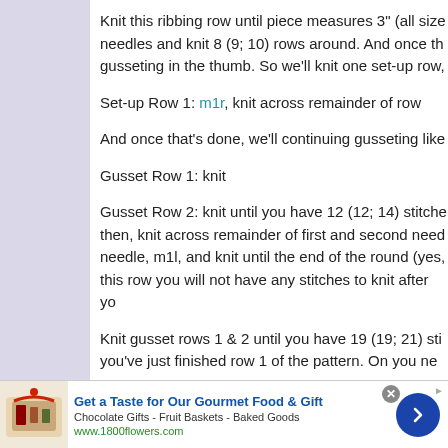Knit this ribbing row until piece measures 3" (all size needles and knit 8 (9; 10) rows around. And once th gusseting in the thumb. So we'll knit one set-up row,
Set-up Row 1: m1r, knit across remainder of row
And once that's done, we'll continuing gusseting like
Gusset Row 1: knit
Gusset Row 2: knit until you have 12 (12; 14) stitche then, knit across remainder of first and second need needle, m1l, and knit until the end of the round (yes, this row you will not have any stitches to knit after yo
Knit gusset rows 1 & 2 until you have 19 (19; 21) sti you've just finished row 1 of the pattern. On you ne
[Figure (infographic): Advertisement banner: 'Get a Taste for Our Gourmet Food & Gift' from 1800flowers.com with food basket image, blue arrow button, and close button.]